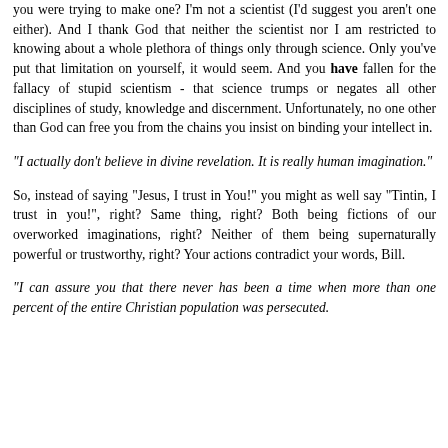you were trying to make one? I'm not a scientist (I'd suggest you aren't one either). And I thank God that neither the scientist nor I am restricted to knowing about a whole plethora of things only through science. Only you've put that limitation on yourself, it would seem. And you have fallen for the fallacy of stupid scientism - that science trumps or negates all other disciplines of study, knowledge and discernment. Unfortunately, no one other than God can free you from the chains you insist on binding your intellect in.
"I actually don't believe in divine revelation. It is really human imagination."
So, instead of saying "Jesus, I trust in You!" you might as well say "Tintin, I trust in you!", right? Same thing, right? Both being fictions of our overworked imaginations, right? Neither of them being supernaturally powerful or trustworthy, right? Your actions contradict your words, Bill.
"I can assure you that there never has been a time when more than one percent of the entire Christian population was persecuted.